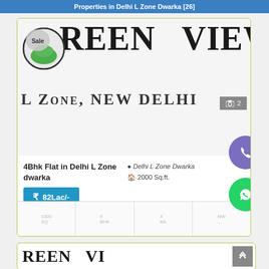Properties in Delhi L Zone Dwarka [26]
[Figure (screenshot): Property listing card for Green View L Zone, New Delhi - 4Bhk Flat in Delhi L Zone dwarka, price 82Lac/-, 2000 Sq.ft., Delhi L Zone Dwarka location]
[Figure (screenshot): Partial second property listing card showing Green View logo]